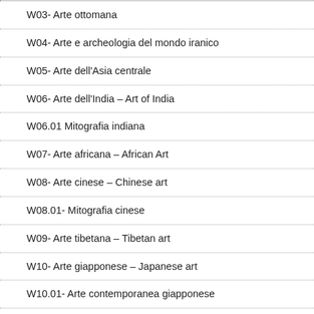W03- Arte ottomana
W04- Arte e archeologia del mondo iranico
W05- Arte dell'Asia centrale
W06- Arte dell'India – Art of India
W06.01 Mitografia indiana
W07- Arte africana – African Art
W08- Arte cinese – Chinese art
W08.01- Mitografia cinese
W09- Arte tibetana – Tibetan art
W10- Arte giapponese – Japanese art
W10.01- Arte contemporanea giapponese
X00- [BENI CULTURALI / CULTURAL HERITAGE]